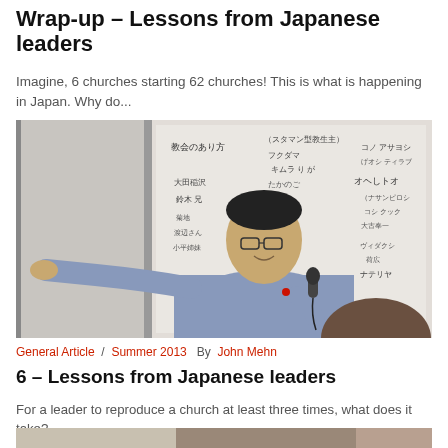Wrap-up – Lessons from Japanese leaders
Imagine, 6 churches starting 62 churches! This is what is happening in Japan. Why do...
[Figure (photo): A Japanese man in a light blue button-up shirt speaking at a seminar, holding a microphone in one hand and gesturing with the other, standing in front of a whiteboard covered in Japanese writing.]
General Article  /  Summer 2013   By  John Mehn
6 – Lessons from Japanese leaders
For a leader to reproduce a church at least three times, what does it take?...
[Figure (photo): Partial view of another article photo, showing the top of a person's head.]